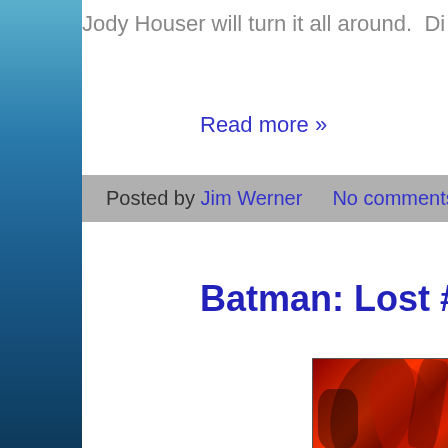Jody Houser will turn it all around.  Di...
Read more »
Posted by Jim Werner    No comments:
Batman: Lost #1 Rev...
[Figure (illustration): Comic book artwork showing dark red and black swirling imagery, partial view of a figure with dark hair against a red background]